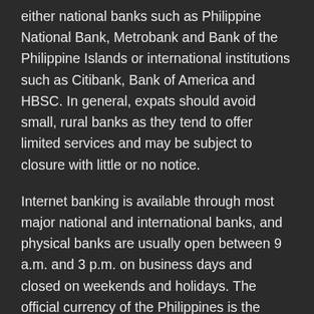either national banks such as Philippine National Bank, Metrobank and Bank of the Philippine Islands or international institutions such as Citibank, Bank of America and HBSC. In general, expats should avoid small, rural banks as they tend to offer limited services and may be subject to closure with little or no notice.
Internet banking is available through most major national and international banks, and physical banks are usually open between 9 a.m. and 3 p.m. on business days and closed on weekends and holidays. The official currency of the Philippines is the Philippine Peso (PHP). Notes come in denominations of 20, 50, , , and 1, PHP. One peso is equal to centavos, and coins are issued in 10, 5 and 1 PHP, and 50, 25, 10 and 5 centavos.
Opening an Account